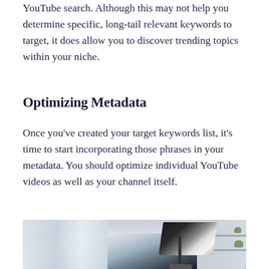YouTube search. Although this may not help you determine specific, long-tail relevant keywords to target, it does allow you to discover trending topics within your niche.
Optimizing Metadata
Once you've created your target keywords list, it's time to start incorporating those phrases in your metadata. You should optimize individual YouTube videos as well as your channel itself.
[Figure (photo): A photography studio setup showing a large black softbox light on a stand, with white curtains in the background and white shelves with plants on the right side.]